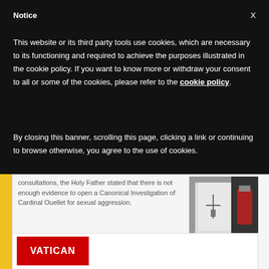Notice
This website or its third party tools use cookies, which are necessary to its functioning and required to achieve the purposes illustrated in the cookie policy. If you want to know more or withdraw your consent to all or some of the cookies, please refer to the cookie policy.
By closing this banner, scrolling this page, clicking a link or continuing to browse otherwise, you agree to the use of cookies.
consultations, the Holy Father stated that there is not enough evidence to open a Canonical Investigation of Cardinal Ouellet for sexual aggression.
[Figure (photo): Photo of a person wearing white papal vestments with a cross necklace, partially visible with a red fire extinguisher in background]
[Figure (screenshot): Vatican banner with red background and white text reading VATICAN]